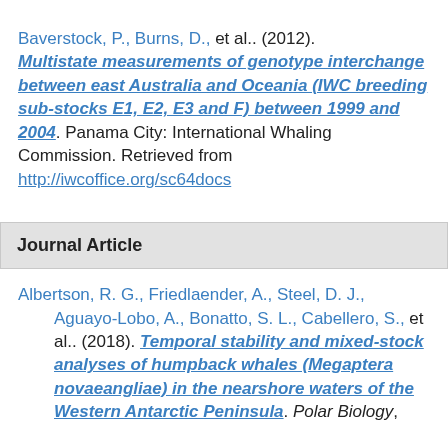Baverstock, P., Burns, D., et al.. (2012). Multistate measurements of genotype interchange between east Australia and Oceania (IWC breeding sub-stocks E1, E2, E3 and F) between 1999 and 2004. Panama City: International Whaling Commission. Retrieved from http://iwcoffice.org/sc64docs
Journal Article
Albertson, R. G., Friedlaender, A., Steel, D. J., Aguayo-Lobo, A., Bonatto, S. L., Cabellero, S., et al.. (2018). Temporal stability and mixed-stock analyses of humpback whales (Megaptera novaeangliae) in the nearshore waters of the Western Antarctic Peninsula. Polar Biology,